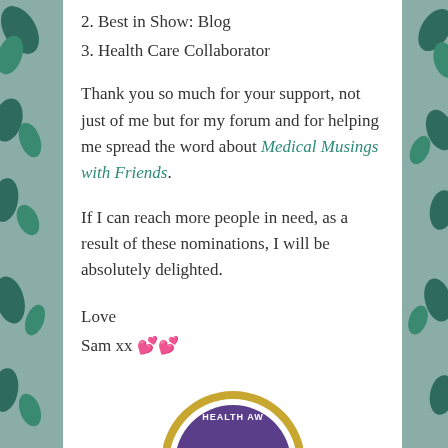2. Best in Show: Blog
3. Health Care Collaborator
Thank you so much for your support, not just of me but for my forum and for helping me spread the word about Medical Musings with Friends.
If I can reach more people in need, as a result of these nominations, I will be absolutely delighted.
Love
Sam xx 💕💕
[Figure (logo): Partial award badge at bottom showing gold circle with purple band reading 'HEALTH AW...']